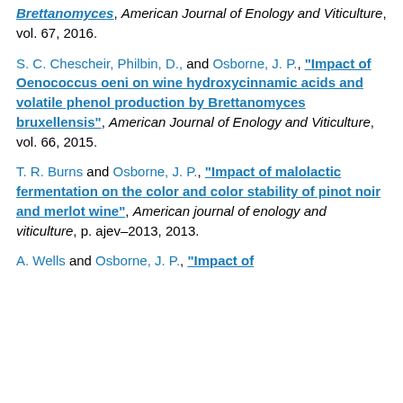Brettanomyces", American Journal of Enology and Viticulture, vol. 67, 2016.
S. C. Chescheir, Philbin, D., and Osborne, J. P., "Impact of Oenococcus oeni on wine hydroxycinnamic acids and volatile phenol production by Brettanomyces bruxellensis", American Journal of Enology and Viticulture, vol. 66, 2015.
T. R. Burns and Osborne, J. P., "Impact of malolactic fermentation on the color and color stability of pinot noir and merlot wine", American journal of enology and viticulture, p. ajev–2013, 2013.
A. Wells and Osborne, J. P., "Impact of